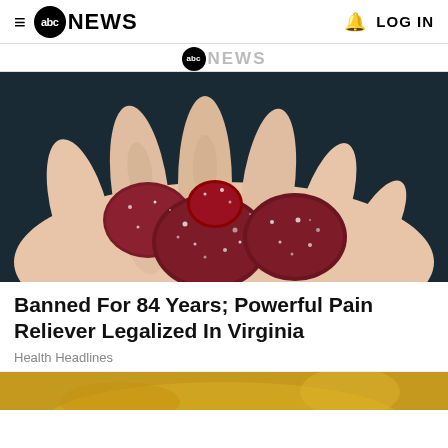≡ abc NEWS  🔔  LOG IN
[Figure (logo): ABC News logo partial, showing circle abc and NEWS text in gray, partially cropped]
[Figure (photo): Close-up photograph of sugar-coated red gummy candies held in a human hand against a dark background]
Banned For 84 Years; Powerful Pain Reliever Legalized In Virginia
Health Headlines
[Figure (photo): Partial image of next article, showing what appears to be a golden liquid or oil, cropped at bottom of page]